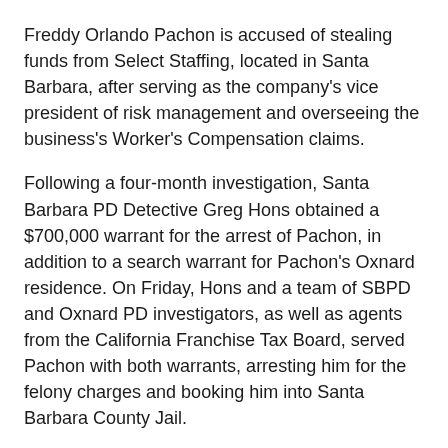Freddy Orlando Pachon is accused of stealing funds from Select Staffing, located in Santa Barbara, after serving as the company's vice president of risk management and overseeing the business's Worker's Compensation claims.
Following a four-month investigation, Santa Barbara PD Detective Greg Hons obtained a $700,000 warrant for the arrest of Pachon, in addition to a search warrant for Pachon's Oxnard residence. On Friday, Hons and a team of SBPD and Oxnard PD investigators, as well as agents from the California Franchise Tax Board, served Pachon with both warrants, arresting him for the felony charges and booking him into Santa Barbara County Jail.
According to an SBPD press release, Select Staffing first contacted officials about Pachon's embezzlement scheme back in May, when an internal audit revealed he had stolen company funds over a four-year span. While managing